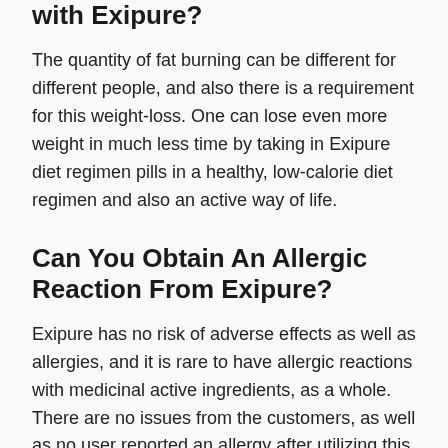with Exipure?
The quantity of fat burning can be different for different people, and also there is a requirement for this weight-loss. One can lose even more weight in much less time by taking in Exipure diet regimen pills in a healthy, low-calorie diet regimen and also an active way of life.
Can You Obtain An Allergic Reaction From Exipure?
Exipure has no risk of adverse effects as well as allergies, and it is rare to have allergic reactions with medicinal active ingredients, as a whole. There are no issues from the customers, as well as no user reported an allergy after utilizing this